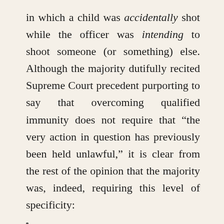in which a child was accidentally shot while the officer was intending to shoot someone (or something) else. Although the majority dutifully recited Supreme Court precedent purporting to say that overcoming qualified immunity does not require that “the very action in question has previously been held unlawful,” it is clear from the rest of the opinion that the majority was, indeed, requiring this level of specificity:
No case capable of clearly establishing the law for this case holds that a temporarily seized person–as was [the child] in this case–suffers a violation of his Fourth Amendment rights when an officer shoots at a dog or any other object and